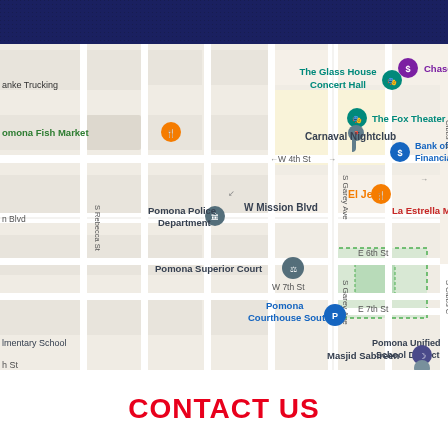[Figure (map): Google Maps screenshot showing downtown Pomona, CA area. Visible landmarks include: The Glass House Concert Hall, Chase Bank, The Fox Theater, Carnaval Nightclub, El Jefe (restaurant), Bank of America Financial, Pomona Police Department, Pomona Superior Court, Pomona Courthouse South, Masjid Sabireen, Pomona Unified School District, Pomona Fish Market, La Estrella M (partially visible), anke Trucking (partially visible). Streets visible include W 4th St, W Mission Blvd, E 6th St, W 7th St, E 7th St, S Garey Ave, S Rebecca St, Gibbs St. Dark blue/navy header at the top of the map.]
CONTACT US